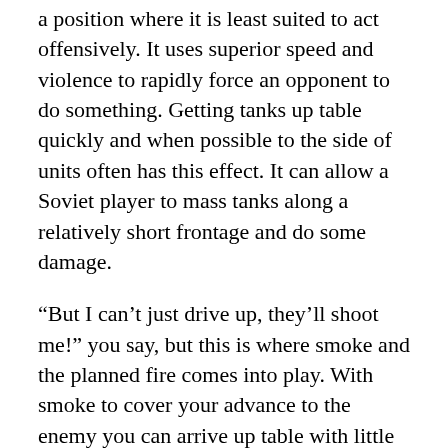a position where it is least suited to act offensively. It uses superior speed and violence to rapidly force an opponent to do something. Getting tanks up table quickly and when possible to the side of units often has this effect. It can allow a Soviet player to mass tanks along a relatively short frontage and do some damage.
“But I can’t just drive up, they’ll shoot me!” you say, but this is where smoke and the planned fire comes into play. With smoke to cover your advance to the enemy you can arrive up table with little to no damage and be in a position to really threaten the enemy hopefully forcing them to move to react. If you have a second artillery group you may even be able to